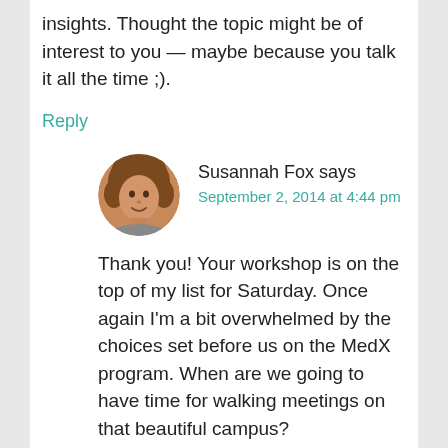insights. Thought the topic might be of interest to you — maybe because you talk it all the time ;).
Reply
[Figure (photo): Circular avatar photo of Susannah Fox, a woman with curly brown hair, smiling.]
Susannah Fox says
September 2, 2014 at 4:44 pm
Thank you! Your workshop is on the top of my list for Saturday. Once again I'm a bit overwhelmed by the choices set before us on the MedX program. When are we going to have time for walking meetings on that beautiful campus?
Reply